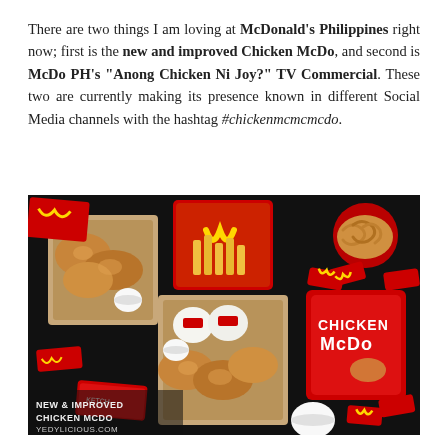There are two things I am loving at McDonald's Philippines right now; first is the new and improved Chicken McDo, and second is McDo PH's "Anong Chicken Ni Joy?" TV Commercial. These two are currently making its presence known in different Social Media channels with the hashtag #chickenmcmcmcdo.
[Figure (photo): Overhead flat-lay photo on a black background showing multiple McDonald's Philippines Chicken McDo meal boxes, red packaging, rice portions in white containers, french fries, ketchup packets, and sauce cups arranged around open meal boxes. A watermark in the lower left reads 'NEW & IMPROVED CHICKEN MCDO YEDYLICIOUS.COM'.]